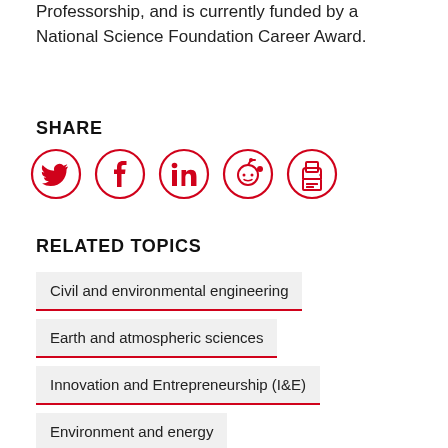Professorship, and is currently funded by a National Science Foundation Career Award.
SHARE
[Figure (infographic): Social sharing icons in red circles: Twitter bird, Facebook f, LinkedIn in, Reddit alien, print/printer icon]
RELATED TOPICS
Civil and environmental engineering
Earth and atmospheric sciences
Innovation and Entrepreneurship (I&E)
Environment and energy